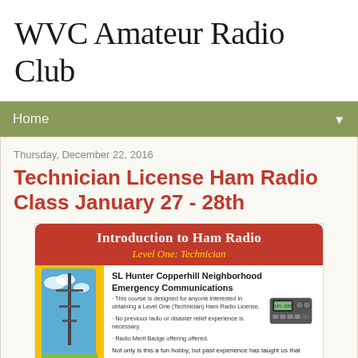WVC Amateur Radio Club
Home
Thursday, December 22, 2016
Technician License Ham Radio Class January 27 - 28th
[Figure (infographic): Flyer for Introduction to Ham Radio Level One: Technician class by SL Hunter Copperhill Neighborhood Emergency Communications. Shows training manual with antenna image, ham radio transceiver, and text about the course.]